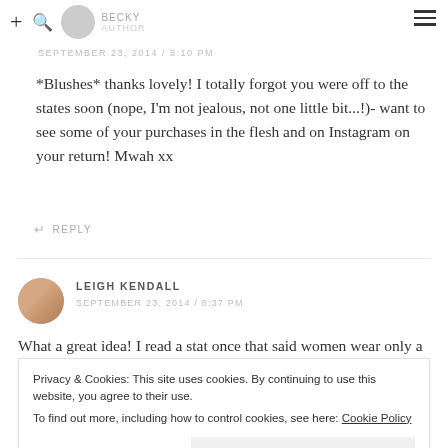BECKY AUTHOR
SEPTEMBER 23, 2014 / 8:10 PM
*Blushes* thanks lovely! I totally forgot you were off to the states soon (nope, I'm not jealous, not one little bit...!)- want to see some of your purchases in the flesh and on Instagram on your return! Mwah xx
↩ REPLY
LEIGH KENDALL
SEPTEMBER 23, 2014 / 8:37 PM
What a great idea! I read a stat once that said women wear only a
Privacy & Cookies: This site uses cookies. By continuing to use this website, you agree to their use.
To find out more, including how to control cookies, see here: Cookie Policy
Close and accept